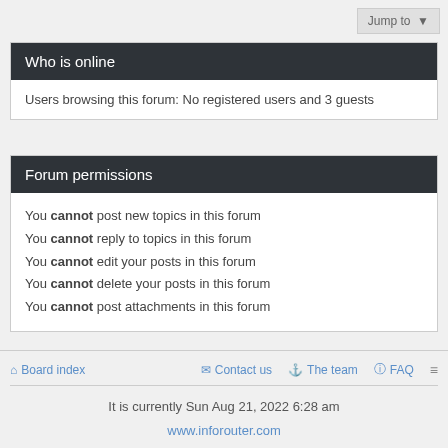Who is online
Users browsing this forum: No registered users and 3 guests
Forum permissions
You cannot post new topics in this forum
You cannot reply to topics in this forum
You cannot edit your posts in this forum
You cannot delete your posts in this forum
You cannot post attachments in this forum
Board index  Contact us  The team  FAQ
It is currently Sun Aug 21, 2022 6:28 am
www.inforouter.com